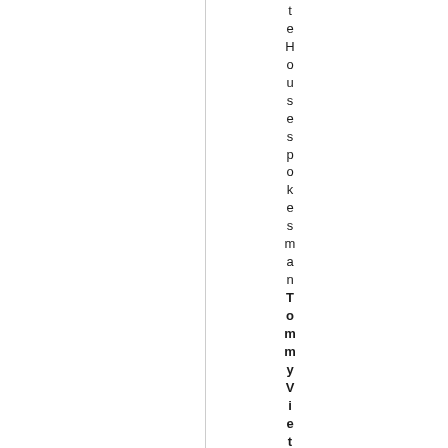t e H o u s e s p o k e s m a n Tommy Viet